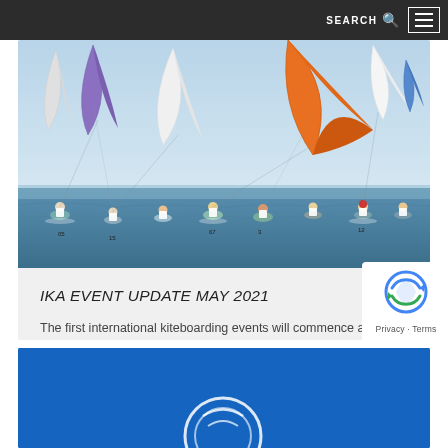SEARCH  ☰
[Figure (photo): Kiteboarding race scene with multiple athletes on the water, colorful kites (orange, blue, purple, white) visible in the background against a bright sky]
IKA EVENT UPDATE MAY 2021
The first international kiteboarding events will commence as planned from July onwards
[Figure (photo): Blue background card with partial logo visible at the bottom of the page]
[Figure (other): reCAPTCHA logo badge with Privacy - Terms text]